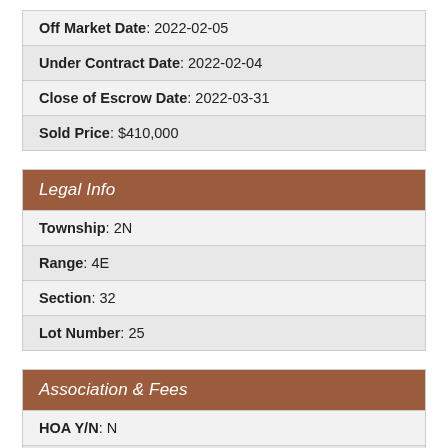| Off Market Date: 2022-02-05 |
| Under Contract Date: 2022-02-04 |
| Close of Escrow Date: 2022-03-31 |
| Sold Price: $410,000 |
Legal Info
| Township: 2N |
| Range: 4E |
| Section: 32 |
| Lot Number: 25 |
Association & Fees
| HOA Y/N: N |
| PAD Fee Y/N: N |
| Land Lease Fee Y/N: N |